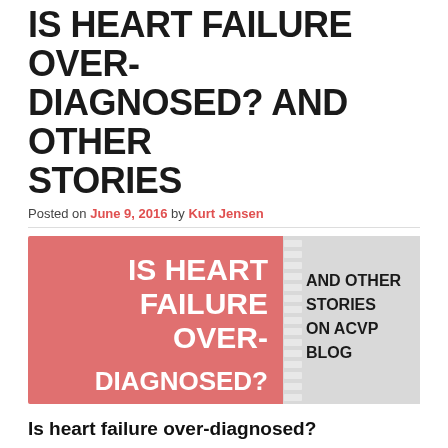IS HEART FAILURE OVER-DIAGNOSED? AND OTHER STORIES
Posted on June 9, 2016 by Kurt Jensen
[Figure (infographic): Infographic banner with salmon/pink background. Left side in large white bold text: 'IS HEART FAILURE OVER-DIAGNOSED?' Right side separated by a zipper graphic: 'AND OTHER STORIES ON ACVP BLOG' in dark text.]
Is heart failure over-diagnosed?
A common problem in elderly men, obstructive